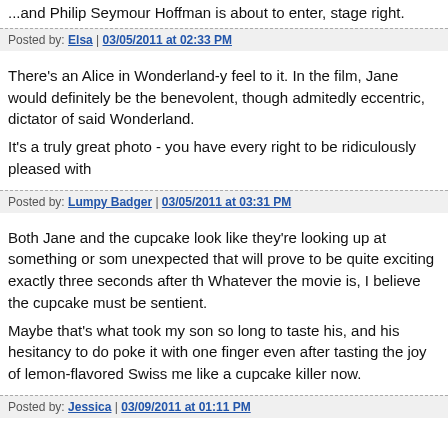...and Philip Seymour Hoffman is about to enter, stage right.
Posted by: Elsa | 03/05/2011 at 02:33 PM
There's an Alice in Wonderland-y feel to it. In the film, Jane would definitely be the benevolent, though admitedly eccentric, dictator of said Wonderland.

It's a truly great photo - you have every right to be ridiculously pleased with
Posted by: Lumpy Badger | 03/05/2011 at 03:31 PM
Both Jane and the cupcake look like they're looking up at something or som unexpected that will prove to be quite exciting exactly three seconds after th Whatever the movie is, I believe the cupcake must be sentient.

Maybe that's what took my son so long to taste his, and his hesitancy to do poke it with one finger even after tasting the joy of lemon-flavored Swiss me like a cupcake killer now.
Posted by: Jessica | 03/09/2011 at 01:11 PM
The comments to this entry are closed.